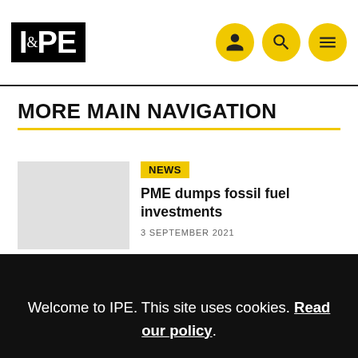IPE
MORE MAIN NAVIGATION
[Figure (illustration): Gray placeholder thumbnail image for article]
NEWS
PME dumps fossil fuel investments
3 SEPTEMBER 2021
Welcome to IPE. This site uses cookies. Read our policy.
OK
[Figure (logo): Nuclear/recycling symbol logo in pink/light red color at bottom of page]